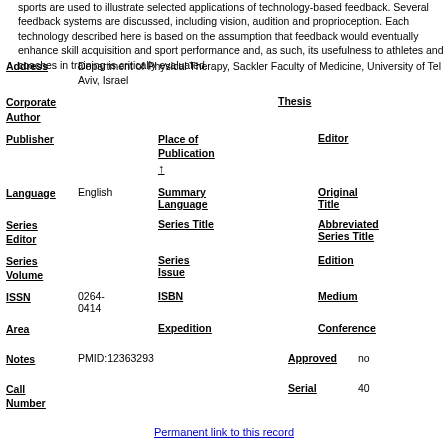sports are used to illustrate selected applications of technology-based feedback. Several feedback systems are discussed, including vision, audition and proprioception. Each technology described here is based on the assumption that feedback would eventually enhance skill acquisition and sport performance and, as such, its usefulness to athletes and coaches in training is critically evaluated.
| Field | Value | Field2 | Value2 | Field3 | Value3 |
| --- | --- | --- | --- | --- | --- |
| Address | Department of Physical Therapy, Sackler Faculty of Medicine, University of Tel Aviv, Israel |  |  |  |  |
| Corporate Author |  |  |  | Thesis |  |
| Publisher |  | Place of Publication ↑ |  | Editor |  |
| Language | English | Summary Language |  | Original Title |  |
| Series Editor |  | Series Title |  | Abbreviated Series Title |  |
| Series Volume |  | Series Issue |  | Edition |  |
| ISSN | 0264-0414 | ISBN |  | Medium |  |
| Area |  | Expedition |  | Conference |  |
| Notes | PMID:12363293 |  |  | Approved | no |
| Call Number |  |  |  | Serial | 40 |
Permanent link to this record